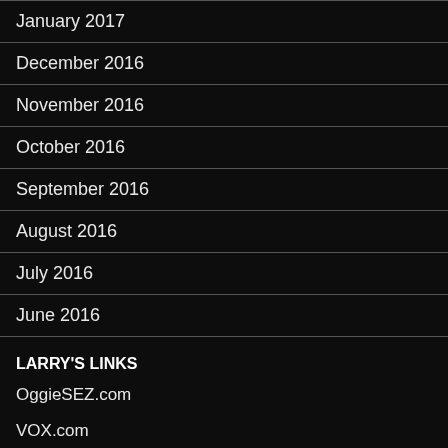January 2017
December 2016
November 2016
October 2016
September 2016
August 2016
July 2016
June 2016
LARRY'S LINKS
OggieSEZ.com
VOX.com